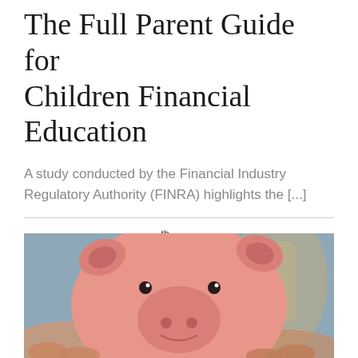The Full Parent Guide for Children Financial Education
A study conducted by the Financial Industry Regulatory Authority (FINRA) highlights the [...]
By PFEEF | February 18th, 2022 | Financial Education, Financial Literacy | Comments Off
Read More ›
[Figure (photo): Hands holding a pink piggy bank against a blurred background]